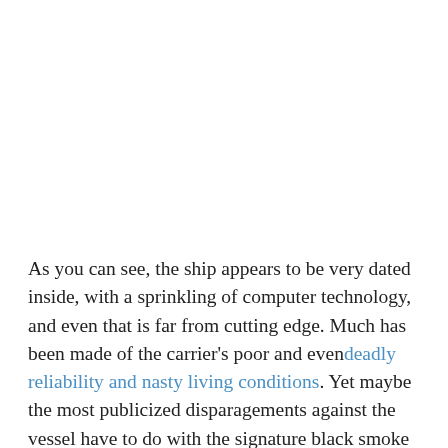As you can see, the ship appears to be very dated inside, with a sprinkling of computer technology, and even that is far from cutting edge. Much has been made of the carrier's poor and evendeadly reliability and nasty living conditions. Yet maybe the most publicized disparagements against the vessel have to do with the signature black smoke that it trails around while underway.